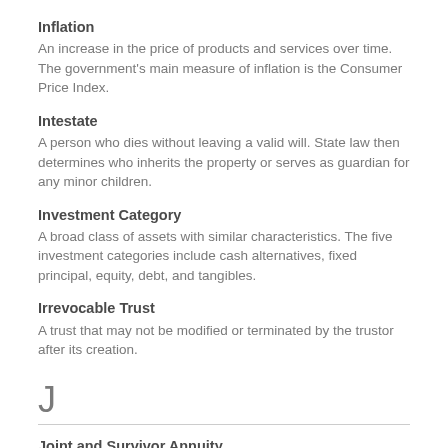Inflation
An increase in the price of products and services over time. The government's main measure of inflation is the Consumer Price Index.
Intestate
A person who dies without leaving a valid will. State law then determines who inherits the property or serves as guardian for any minor children.
Investment Category
A broad class of assets with similar characteristics. The five investment categories include cash alternatives, fixed principal, equity, debt, and tangibles.
Irrevocable Trust
A trust that may not be modified or terminated by the trustor after its creation.
J
Joint and Survivor Annuity
Most pension plans must offer this form of pension plan payout that pays over the life of the retiree and